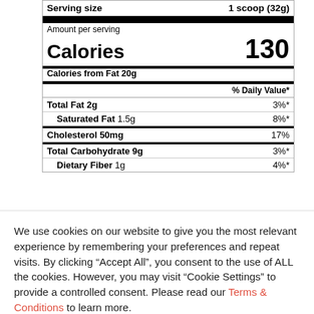| Serving size | 1 scoop (32g) |
| Amount per serving |  |
| Calories | 130 |
| Calories from Fat | 20g |
| % Daily Value* |  |
| Total Fat 2g | 3%* |
| Saturated Fat 1.5g | 8%* |
| Cholesterol 50mg | 17% |
| Total Carbohydrate 9g | 3%* |
| Dietary Fiber 1g | 4%* |
We use cookies on our website to give you the most relevant experience by remembering your preferences and repeat visits. By clicking “Accept All”, you consent to the use of ALL the cookies. However, you may visit “Cookie Settings” to provide a controlled consent. Please read our Terms & Conditions to learn more.
Cookie Settings
Accept All